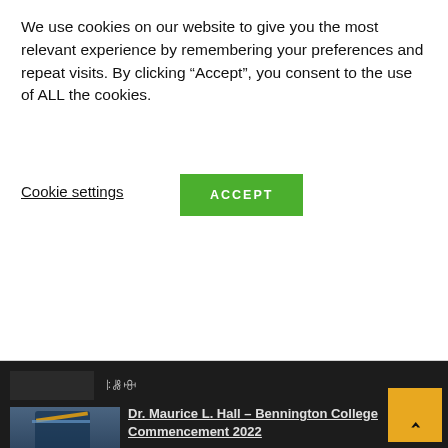We use cookies on our website to give you the most relevant experience by remembering your preferences and repeat visits. By clicking "Accept", you consent to the use of ALL the cookies.
Cookie settings
ACCEPT
[Figure (screenshot): Thumbnail image of an advertisement with blue label reading 'CHOOSE YOUR COMBO!' and partially visible text]
Dr. Maurice L. Hall – Bennington College Commencement 2022
[Figure (photo): Thumbnail photo of Dr. Maurice L. Hall speaking at Bennington College Commencement 2022, wearing academic regalia with colorful stole]
Speech highlights: Provost Dr. Maurice L. Hall addresses Bennington College's Class of 2022 / Commencement Day, May 28th, 2022. For the full speech, please visit: https://youtu.be/ofIKJYH87ds?t=2482 Visit http://www.bennington.edu for more information #bennington #college #commencement [...]